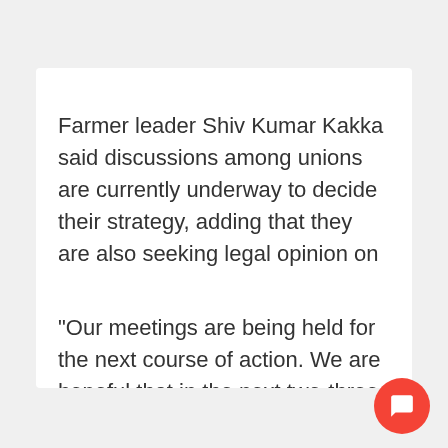Farmer leader Shiv Kumar Kakka said discussions among unions are currently underway to decide their strategy, adding that they are also seeking legal opinion on the matter.
"Our meetings are being held for the next course of action. We are hopeful that in the next two-three days, we will have clarity on whether we should be part of a committee as suggested by the court...